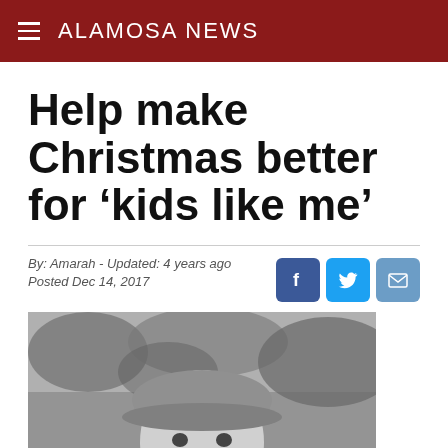ALAMOSA NEWS
Help make Christmas better for ‘kids like me’
By: Amarah - Updated: 4 years ago
Posted Dec 14, 2017
[Figure (photo): Black and white photo of a smiling child wearing a baseball cap, with foliage in the background.]